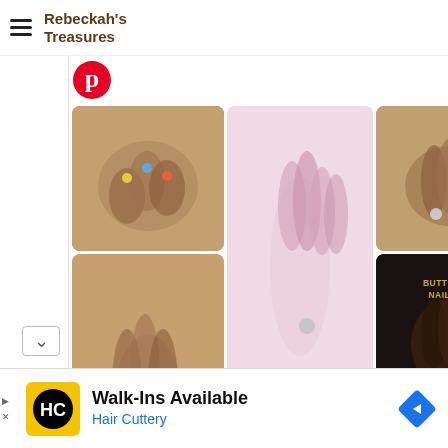Rebeckah's Treasures
[Figure (screenshot): Pinterest board showing nail art photos in a masonry grid layout. Multiple images of decorated nails including colorful nail art, butterfly nail art (labeled 'BUTTERFLY NAIL ART'), French tips, and various nail designs.]
[Figure (infographic): Advertisement banner: Hair Cuttery walk-ins available ad with yellow HC logo]